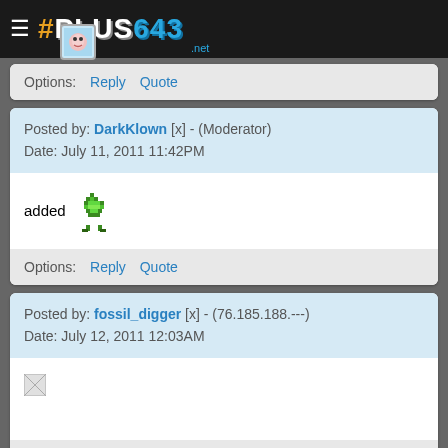# PLUS643 .net
Options: Reply Quote
Posted by: DarkKlown [x] - (Moderator)
Date: July 11, 2011 11:42PM
added [banana emoji]
Options: Reply Quote
Posted by: fossil_digger [x] - (76.185.188.---)
Date: July 12, 2011 12:03AM
[Figure (other): Broken image placeholder]
Options: Reply Quote